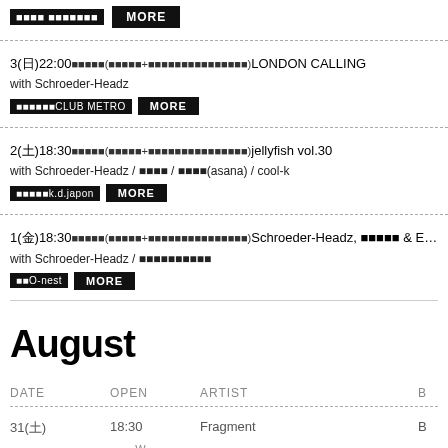[venue label] MORE
3(日)22:00開場/開演(前売り+1D or 当日+2D)LONDON CALLING
with Schroeder-Headz
[venue]CLUB METRO MORE
2(土)18:30開場/開演(前売り+1D or 当日+2D)jellyfish vol.30
with Schroeder-Headz / 七尾旅人 / asana(asana) / cool-k
[venue]k.d.japon MORE
1(金)18:30開場/開演(前売り+1D or 当日+2D)Schroeder-Headz, 七尾旅人 & EASEL presnt "3 PO...
with Schroeder-Headz / 渡辺シュンスケ
[venue]渋O-nest MORE
August
| DATE | OPEN | ARTIST | B |
| --- | --- | --- | --- |
| 31(土) | 18:30 | Fragment | B... |